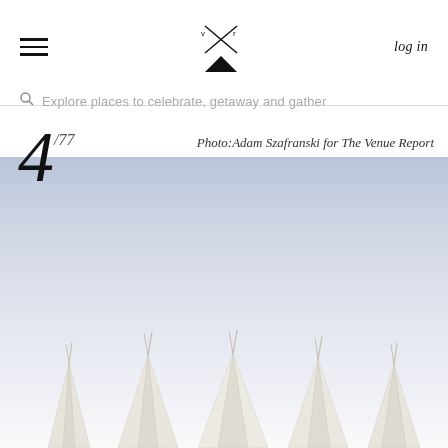Navigation bar with hamburger menu, logo, and log in link
Explore places to celebrate, getaway and gather
4 / 77
Photo:Adam Szafranski for The Venue Report
[Figure (photo): Outdoor photo showing white teepee tents against a pale blue-grey sky. Multiple teepee peaks visible at the bottom of the frame.]